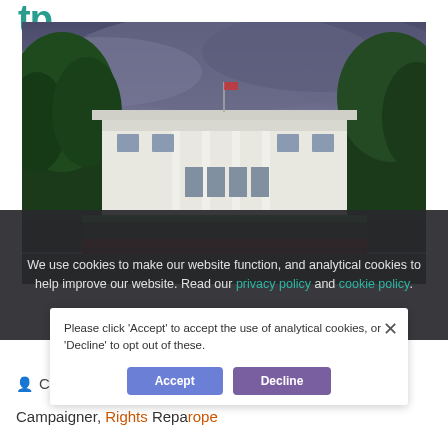tp
[Figure (photo): White House building with trees, red flowers in foreground, dramatic cloudy sky, American flag on roof]
We use cookies to make our website function, and analytical cookies to help improve our website. Read our privacy policy and cookie policy.
Please click 'Accept' to accept the use of analytical cookies, or 'Decline' to opt out of these.
Chloé Miko
Campaigner, Rights Reparope